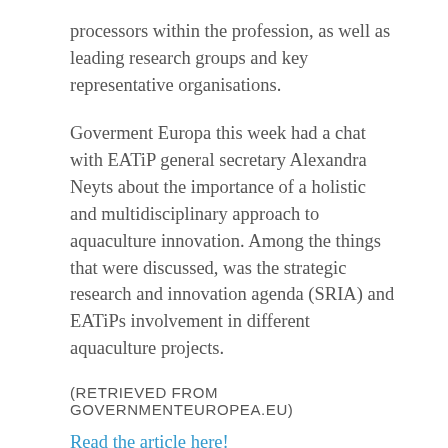processors within the profession, as well as leading research groups and key representative organisations.
Goverment Europa this week had a chat with EATiP general secretary Alexandra Neyts about the importance of a holistic and multidisciplinary approach to aquaculture innovation. Among the things that were discussed, was the strategic research and innovation agenda (SRIA) and EATiPs involvement in different aquaculture projects.
(RETRIEVED FROM GOVERNMENTEUROPEA.EU)
Read the article here!
SRIA AND PROJECTS
You can read the Review of the Strategic Research